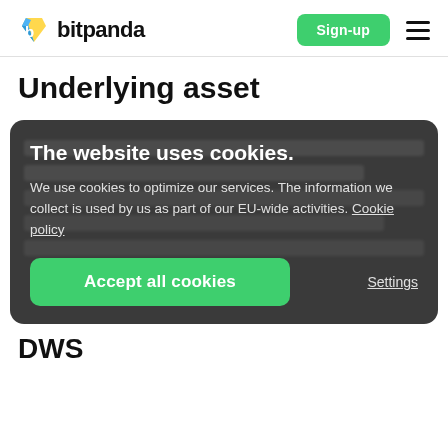[Figure (logo): Bitpanda logo with stylized 'B' icon in blue and yellow, and text 'bitpanda' in bold black]
Sign-up
Underlying asset
The website uses cookies.
We use cookies to optimize our services. The information we collect is used by us as part of our EU-wide activities. Cookie policy
Accept all cookies
Settings
DWS